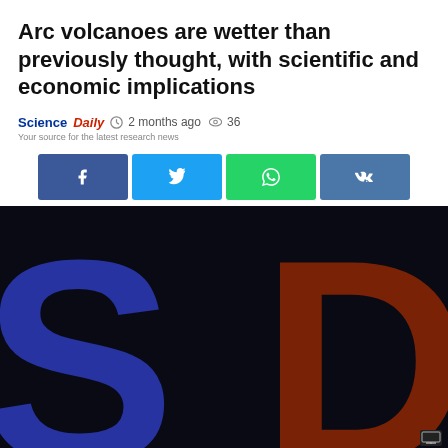Arc volcanoes are wetter than previously thought, with scientific and economic implications
ScienceDaily  2 months ago  36
Your source for the latest research news
[Figure (logo): ScienceDaily SD logo on dark background with large blue S and dark red D letters]
Share buttons: Facebook, Twitter, WhatsApp, VK